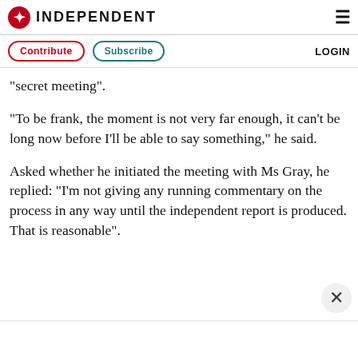INDEPENDENT
“secret meeting”.
“To be frank, the moment is not very far enough, it can’t be long now before I’ll be able to say something,” he said.
Asked whether he initiated the meeting with Ms Gray, he replied: “I’m not giving any running commentary on the process in any way until the independent report is produced. That is reasonable”.